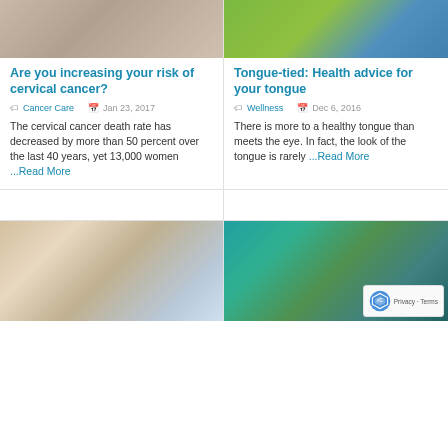[Figure (photo): Person in knit sweater, top portion visible]
[Figure (photo): Colorful illustration with green and blue background]
Are you increasing your risk of cervical cancer?
Tongue-tied: Health advice for your tongue
Cancer Care  Jan 23, 2017
Wellness  Dec 6, 2016
The cervical cancer death rate has decreased by more than 50 percent over the last 40 years, yet 13,000 women ...Read More
There is more to a healthy tongue than meets the eye. In fact, the look of the tongue is rarely ...Read More
[Figure (photo): Blonde woman looking to the side in a bright room]
[Figure (illustration): Cartoon witch illustration with jars in background, reCAPTCHA badge visible]